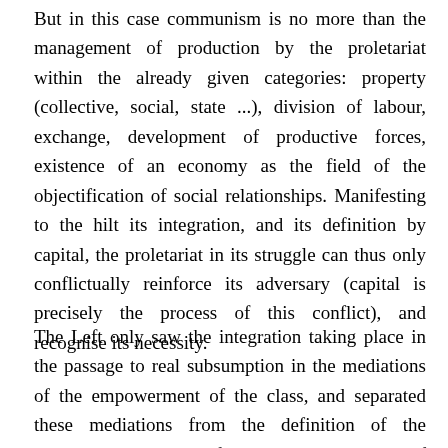But in this case communism is no more than the management of production by the proletariat within the already given categories: property (collective, social, state ...), division of labour, exchange, development of productive forces, existence of an economy as the field of the objectification of social relationships. Manifesting to the hilt its integration, and its definition by capital, the proletariat in its struggle can thus only conflictually reinforce its adversary (capital is precisely the process of this conflict), and recognise its necessity.
The Left only saw the integration taking place in the passage to real subsumption in the mediations of the empowerment of the class, and separated these mediations from the definition of the proletariat as class of the capitalist mode of production. Communism